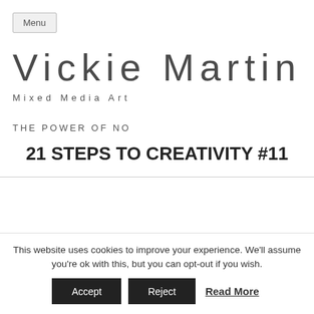Menu
Vickie Martin
Mixed Media Art
THE POWER OF NO
21 STEPS TO CREATIVITY #11
This website uses cookies to improve your experience. We'll assume you're ok with this, but you can opt-out if you wish.
Accept   Reject   Read More